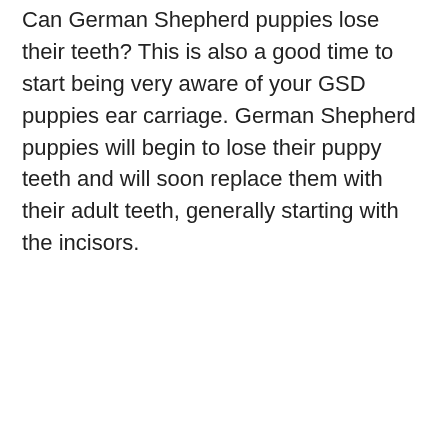Can German Shepherd puppies lose their teeth? This is also a good time to start being very aware of your GSD puppies ear carriage. German Shepherd puppies will begin to lose their puppy teeth and will soon replace them with their adult teeth, generally starting with the incisors.